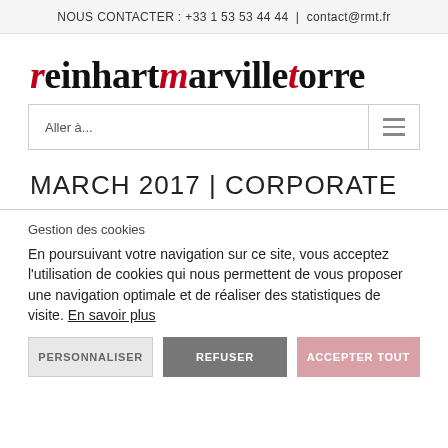NOUS CONTACTER : +33 1 53 53 44 44  |  contact@rmt.fr
reinhartmarvilletorre
Aller à...
MARCH 2017 | CORPORATE
Gestion des cookies
En poursuivant votre navigation sur ce site, vous acceptez l'utilisation de cookies qui nous permettent de vous proposer une navigation optimale et de réaliser des statistiques de visite. En savoir plus
PERSONNALISER  REFUSER  ACCEPTER TOUT